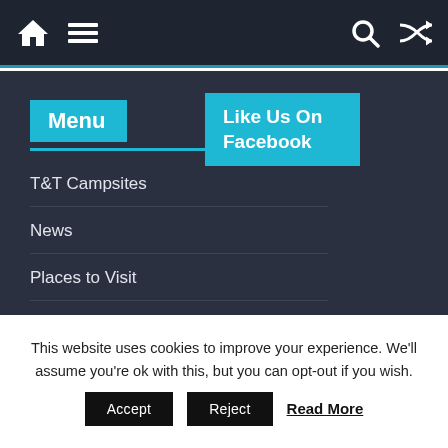Navigation bar with home icon, menu icon, search icon, shuffle icon
Menu
Like Us On Facebook
T&T Campsites
News
Places to Visit
Contact
Advertise
Cookie Policy
This website uses cookies to improve your experience. We'll assume you're ok with this, but you can opt-out if you wish.
Accept   Reject   Read More